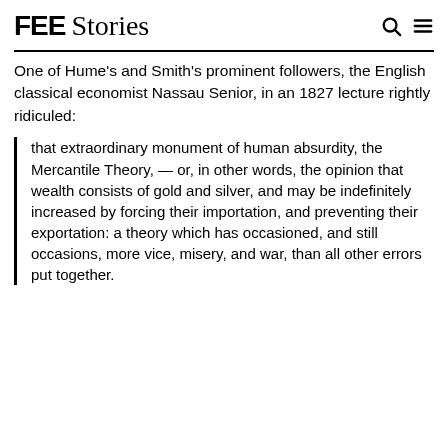FEE Stories
One of Hume's and Smith's prominent followers, the English classical economist Nassau Senior, in an 1827 lecture rightly ridiculed:
that extraordinary monument of human absurdity, the Mercantile Theory, — or, in other words, the opinion that wealth consists of gold and silver, and may be indefinitely increased by forcing their importation, and preventing their exportation: a theory which has occasioned, and still occasions, more vice, misery, and war, than all other errors put together.